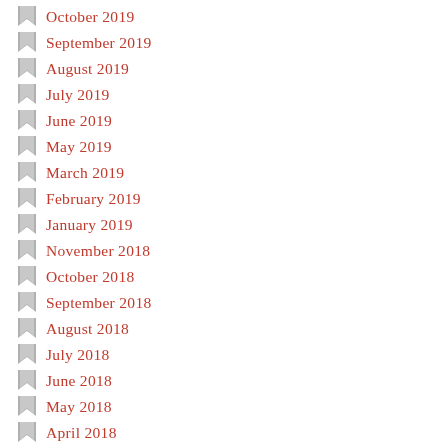October 2019
September 2019
August 2019
July 2019
June 2019
May 2019
March 2019
February 2019
January 2019
November 2018
October 2018
September 2018
August 2018
July 2018
June 2018
May 2018
April 2018
March 2018